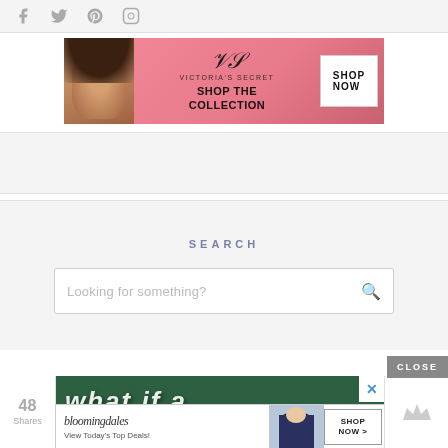[Figure (other): Social media icons: Facebook, Twitter, Pinterest, Instagram in gray]
[Figure (other): Victoria's Secret advertisement banner with model and pink background. Text: SHOP THE COLLECTION, SHOP NOW button]
SEARCH
[Figure (other): Search input box with placeholder text 'Looking for something?' and magnifying glass icon]
CLOSE
[Figure (other): Green advertisement banner with white text - partially visible]
[Figure (other): Bloomingdales advertisement: bloomingdales View Today's Top Deals! SHOP NOW >]
48 Shares
[Figure (other): Crown icon on right side]